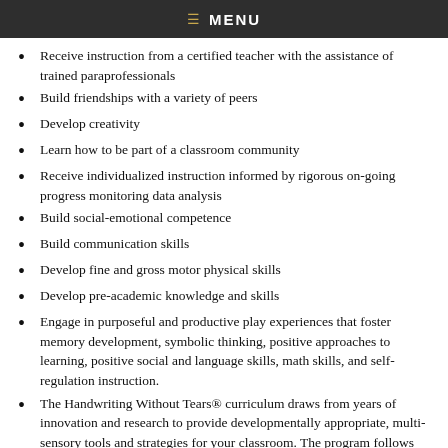MENU
Receive instruction from a certified teacher with the assistance of trained paraprofessionals
Build friendships with a variety of peers
Develop creativity
Learn how to be part of a classroom community
Receive individualized instruction informed by rigorous on-going progress monitoring data analysis
Build social-emotional competence
Build communication skills
Develop fine and gross motor physical skills
Develop pre-academic knowledge and skills
Engage in purposeful and productive play experiences that foster memory development, symbolic thinking, positive approaches to learning, positive social and language skills, math skills, and self-regulation instruction.
The Handwriting Without Tears® curriculum draws from years of innovation and research to provide developmentally appropriate, multi-sensory tools and strategies for your classroom. The program follows research that demonstrates children learn more